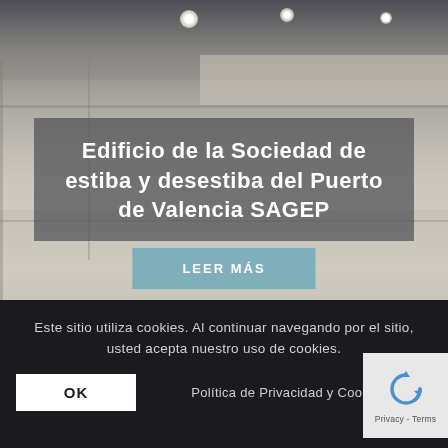[Figure (photo): Interior photograph of an office/building space showing ceiling with spotlights, mezzanine railing, and lower floor area. Light beige and grey tones. Semi-transparent dark overlay with title text.]
Edificio de la Sociedad de estiba y desestiba del Puerto de Valencia SAGEP
LEER MÁS
Este sitio utiliza cookies. Al continuar navegando por el sitio, usted acepta nuestro uso de cookies.
OK
Política de Privacidad y Cookies
[Figure (logo): reCAPTCHA logo icon (blue circular arrows) with text 'Privacy - Terms' below on a light grey background box]